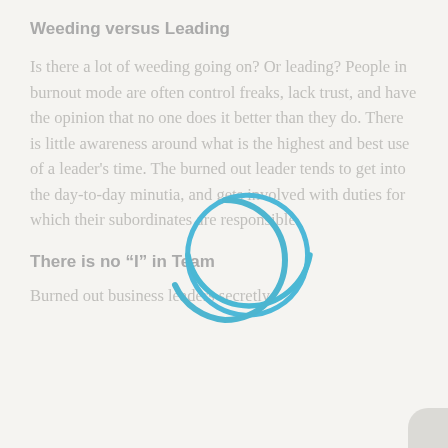Weeding versus Leading
Is there a lot of weeding going on?  Or leading? People in burnout mode are often control freaks, lack trust, and have the opinion that no one does it better than they do.  There is little awareness around what is the highest and best use of a leader’s time.  The burned out leader tends to get into the day-to-day minutia, and gets involved with duties for which their subordinates are responsible.
There is no “I” in Team
Burned out business leaders secretly